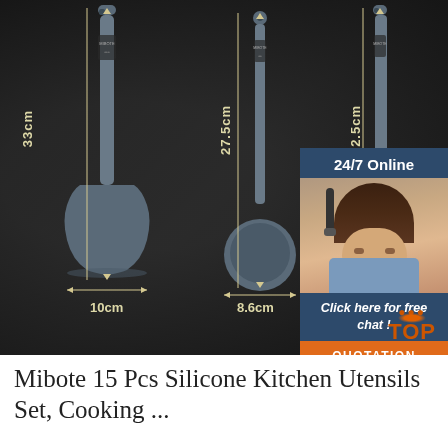[Figure (photo): Product photo showing two gray silicone kitchen utensils (a spatula and a ladle) on a dark background with dimension annotations: spatula is 33cm tall and 10cm wide at head; ladle is 27.5cm tall and 8.6cm wide at head; partial third utensil at right labeled 32.5cm. An overlay chat box on the right reads '24/7 Online', shows a customer service agent photo, 'Click here for free chat!', and an orange 'QUOTATION' button. A 'TOP' logo appears at bottom right.]
Mibote 15 Pcs Silicone Kitchen Utensils Set, Cooking ...